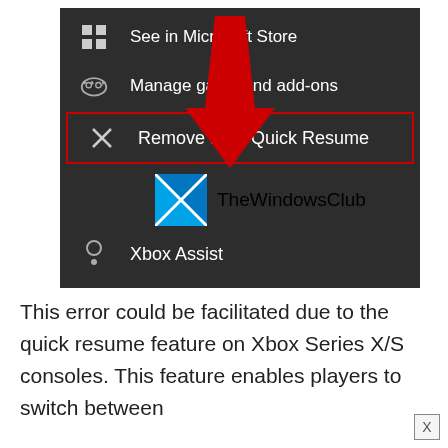[Figure (screenshot): Xbox console menu screenshot showing options: 'See in Microsoft Store', 'Manage game and add-ons', 'Remove from Quick Resume' (highlighted with red border and red arrow pointing to it), TheWindowsClub watermark, and 'Xbox Assist' menu item. Dark background UI.]
This error could be facilitated due to the quick resume feature on Xbox Series X/S consoles. This feature enables players to switch between